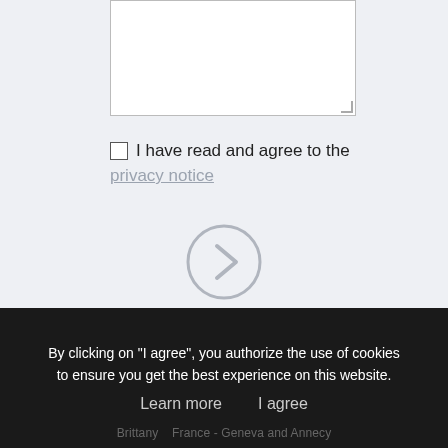[Figure (screenshot): A white textarea input box with a resize handle in the bottom-right corner, set against a light gray background.]
I have read and agree to the privacy notice
[Figure (other): A circular arrow/next button icon (right-pointing chevron inside a circle outline) in gray.]
By clicking on "I agree", you authorize the use of cookies to ensure you get the best experience on this website.
Learn more   I agree
Brittany   France - Geneva and Annecy